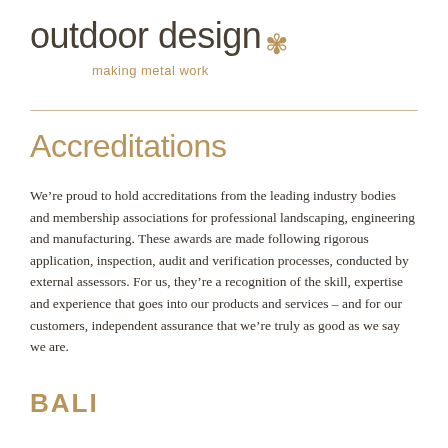outdoor design* making metal work
Accreditations
We're proud to hold accreditations from the leading industry bodies and membership associations for professional landscaping, engineering and manufacturing. These awards are made following rigorous application, inspection, audit and verification processes, conducted by external assessors. For us, they're a recognition of the skill, expertise and experience that goes into our products and services – and for our customers, independent assurance that we're truly as good as we say we are.
BALI